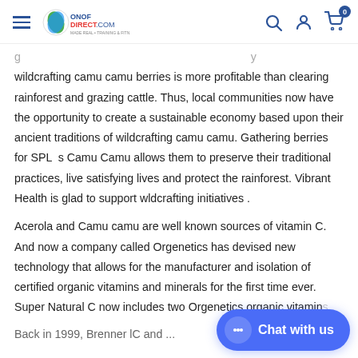ONOF DIRECT.COM
wildcrafting camu camu berries is more profitable than clearing rainforest and grazing cattle. Thus, local communities now have the opportunity to create a sustainable economy based upon their ancient traditions of wildcrafting camu camu. Gathering berries for SPL s Camu Camu allows them to preserve their traditional practices, live satisfying lives and protect the rainforest. Vibrant Health is glad to support wldcrafting initiatives .
Acerola and Camu camu are well known sources of vitamin C. And now a company called Orgenetics has devised new technology that allows for the manufacturer and isolation of certified organic vitamins and minerals for the first time ever. Super Natural C now includes two Orgenetics organic vitamin
Back in 1999, Brenner lC and ...